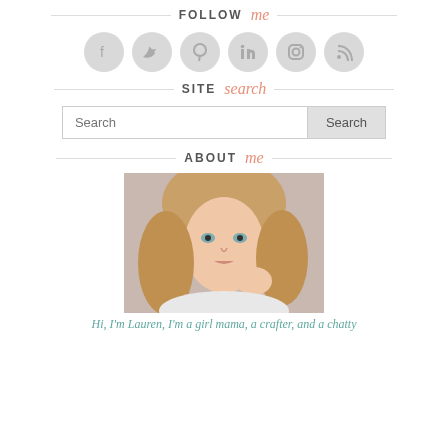FOLLOW me
[Figure (illustration): Six social media icon circles (Facebook, Twitter, Pinterest, LinkedIn, Instagram, RSS) in light gray]
SITE search
Search [input field] Search [button]
ABOUT me
[Figure (photo): Portrait photo of a young blonde woman with wavy hair looking at camera, hand near chin]
Hi, I'm Lauren, I'm a girl mama, a crafter, and a chatty